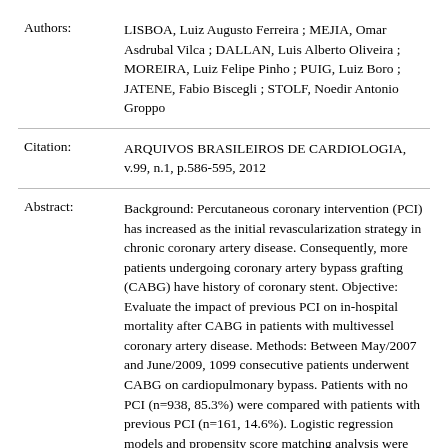| Authors: | LISBOA, Luiz Augusto Ferreira ; MEJIA, Omar Asdrubal Vilca ; DALLAN, Luis Alberto Oliveira ; MOREIRA, Luiz Felipe Pinho ; PUIG, Luiz Boro ; JATENE, Fabio Biscegli ; STOLF, Noedir Antonio Groppo |
| Citation: | ARQUIVOS BRASILEIROS DE CARDIOLOGIA, v.99, n.1, p.586-595, 2012 |
| Abstract: | Background: Percutaneous coronary intervention (PCI) has increased as the initial revascularization strategy in chronic coronary artery disease. Consequently, more patients undergoing coronary artery bypass grafting (CABG) have history of coronary stent. Objective: Evaluate the impact of previous PCI on in-hospital mortality after CABG in patients with multivessel coronary artery disease. Methods: Between May/2007 and June/2009, 1099 consecutive patients underwent CABG on cardiopulmonary bypass. Patients with no PCI (n=938, 85.3%) were compared with patients with previous PCI (n=161, 14.6%). Logistic regression models and propensity score matching analysis were |